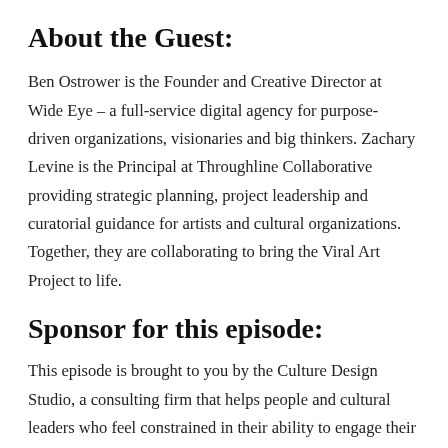About the Guest:
Ben Ostrower is the Founder and Creative Director at Wide Eye – a full-service digital agency for purpose-driven organizations, visionaries and big thinkers. Zachary Levine is the Principal at Throughline Collaborative providing strategic planning, project leadership and curatorial guidance for artists and cultural organizations.  Together, they are collaborating to bring the Viral Art Project to life.
Sponsor for this episode:
This episode is brought to you by the Culture Design Studio, a consulting firm that helps people and cultural leaders who feel constrained in their ability to engage their employees to become